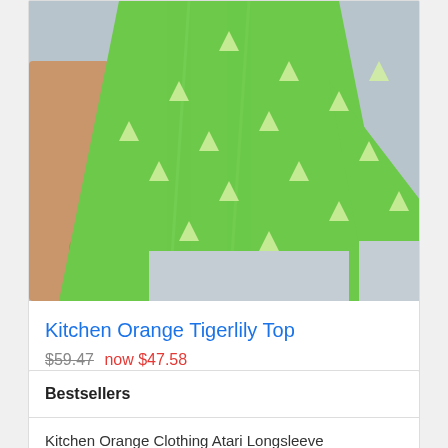[Figure (photo): A model wearing a green Tigerlily top with white leaf/triangle pattern, paired with light grey pants. The model is shown from neck to hip level against a light blue-grey background.]
Kitchen Orange Tigerlily Top
$59.47 now $47.58
Bestsellers
Kitchen Orange Clothing Atari Longsleeve